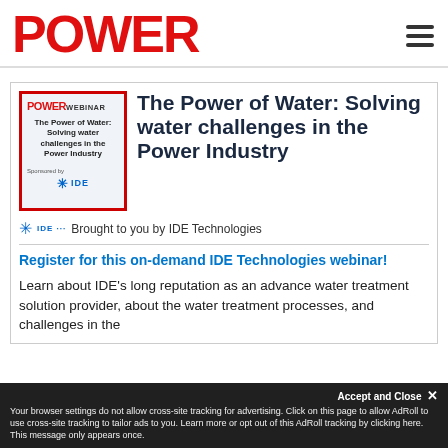POWER
[Figure (screenshot): POWER WEBINAR thumbnail image showing 'The Power of Water: Solving water challenges in the Power Industry' sponsored by IDE Technologies]
The Power of Water: Solving water challenges in the Power Industry
Brought to you by IDE Technologies
Register for this on-demand IDE Technologies webinar!
Learn about IDE's long reputation as an advance water treatment solution provider, about the water treatment processes, and challenges in the
Your browser settings do not allow cross-site tracking for advertising. Click on this page to allow AdRoll to use cross-site tracking to tailor ads to you. Learn more or opt out of this AdRoll tracking by clicking here. This message only appears once.